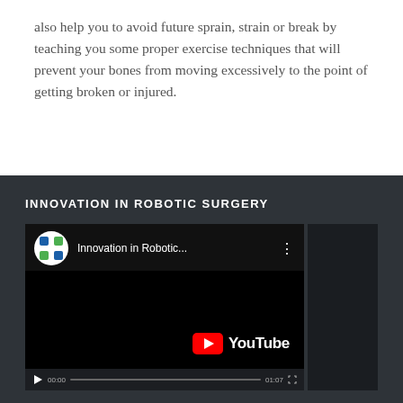also help you to avoid future sprain, strain or break by teaching you some proper exercise techniques that will prevent your bones from moving excessively to the point of getting broken or injured.
INNOVATION IN ROBOTIC SURGERY
[Figure (screenshot): YouTube video embed showing 'Innovation in Robotic...' with a channel logo (blue/green cross icon), video title, three-dot menu, black video area with YouTube logo, and video controls bar at the bottom with play button, timestamp, progress bar, and fullscreen icon.]